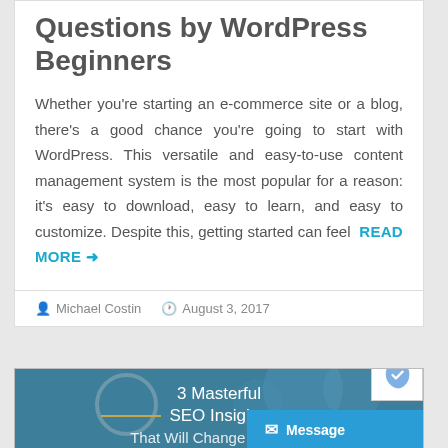Questions by WordPress Beginners
Whether you're starting an e-commerce site or a blog, there's a good chance you're going to start with WordPress. This versatile and easy-to-use content management system is the most popular for a reason: it's easy to download, easy to learn, and easy to customize. Despite this, getting started can feel READ MORE →
Michael Costin   August 3, 2017
[Figure (illustration): Teal/blue banner image for article '3 Masterful SEO Insights That Will Change Your Life' with decorative digital/tech icons in background]